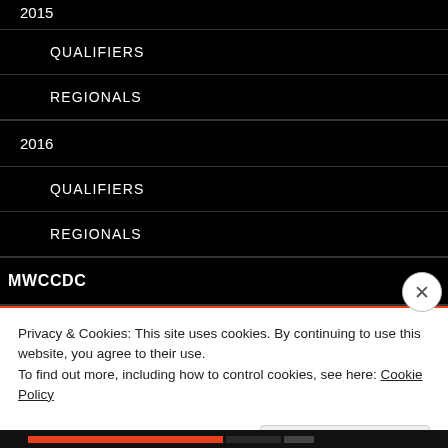2015
QUALIFIERS
REGIONALS
2016
QUALIFIERS
REGIONALS
MWCCDC
2011
REGIONALS
Privacy & Cookies: This site uses cookies. By continuing to use this website, you agree to their use.
To find out more, including how to control cookies, see here: Cookie Policy
Close and accept